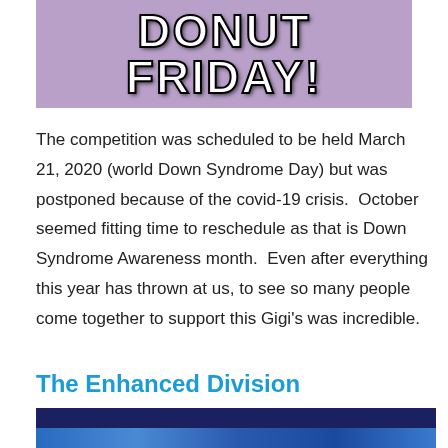[Figure (photo): Image with large bold white text reading 'DONUT FRIDAY!' overlaid on a colorful background with hands holding donuts]
The competition was scheduled to be held March 21, 2020 (world Down Syndrome Day) but was postponed because of the covid-19 crisis.  October seemed fitting time to reschedule as that is Down Syndrome Awareness month.  Even after everything this year has thrown at us, to see so many people come together to support this Gigi's was incredible.
The Enhanced Division
[Figure (photo): Photo of people in a gym setting with blue decorated walls and a barbell rack visible]